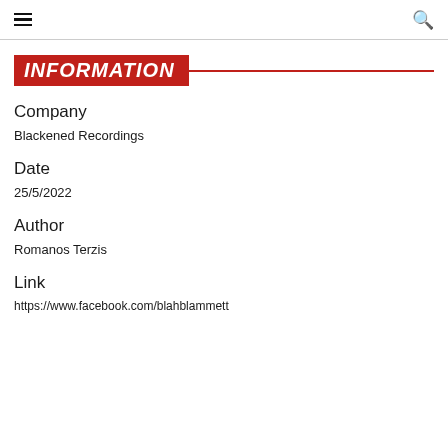☰ [menu] [search]
INFORMATION
Company
Blackened Recordings
Date
25/5/2022
Author
Romanos Terzis
Link
https://www.facebook.com/blahblahmmett